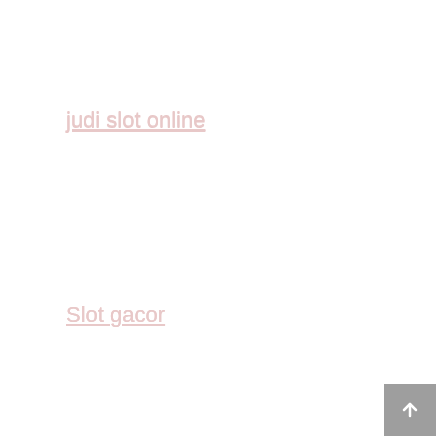judi slot online
Slot gacor
judi slot online
slot online
slot88